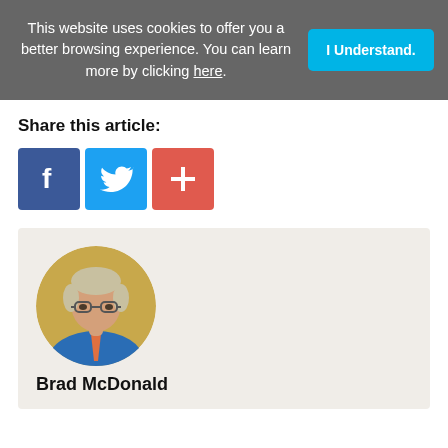This website uses cookies to offer you a better browsing experience. You can learn more by clicking here.
I Understand.
Share this article:
[Figure (infographic): Three social share buttons: Facebook (blue), Twitter (light blue), and a red plus/more button]
[Figure (photo): Circular headshot photo of Brad McDonald, a middle-aged man with grey-blond hair and glasses, wearing a blue shirt and tie]
Brad McDonald